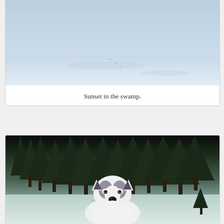[Figure (photo): A snowy landscape, likely a frozen swamp or field, with a blue-tinted snow surface visible. The top portion shows a snow-covered ground with subtle footprints or tracks.]
Sunset in the swamp.
[Figure (photo): A Siberian Husky dog standing in a snowy forest setting, looking at the camera with its tongue out. Tall dark evergreen/pine trees are visible in the background. The dog is white with grey/black markings and appears happy.]